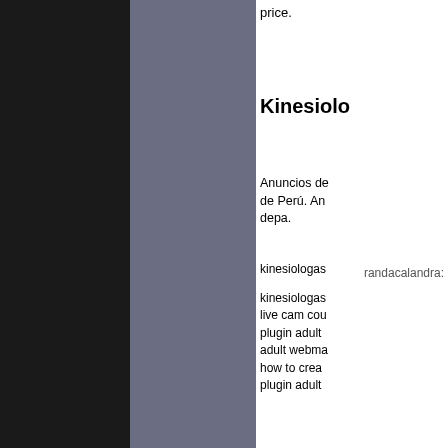price.
Kinesiolo
Anuncios de kinesiologa de Perú. An depa.
randacalandra: kinesiologas
kinesiologas live cam cou plugin adult adult webma how to crea plugin adult
acompañan packs
mattbrown: HTML [url= https://www. Great post, other posts s fruits online, Naturalz Ka Naturalz Gre Naturalz Ind Naturalz Ind